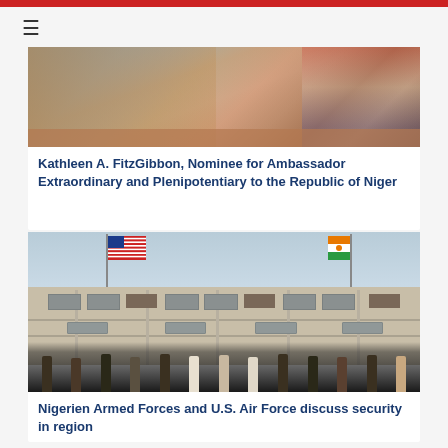≡
[Figure (photo): Close-up photo of a woman (Kathleen A. FitzGibbon) with blonde hair, partially visible face from nose down, with an American flag in the background]
Kathleen A. FitzGibbon, Nominee for Ambassador Extraordinary and Plenipotentiary to the Republic of Niger
[Figure (photo): Group photo of military personnel and officials standing in front of a two-story building with an American flag and a Niger flag flying on flagpoles. The building resembles a military base or compound.]
Nigerien Armed Forces and U.S. Air Force discuss security in region